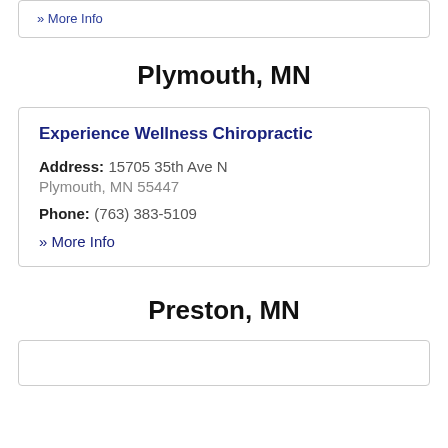» More Info
Plymouth, MN
Experience Wellness Chiropractic
Address: 15705 35th Ave N
Plymouth, MN 55447
Phone: (763) 383-5109
» More Info
Preston, MN